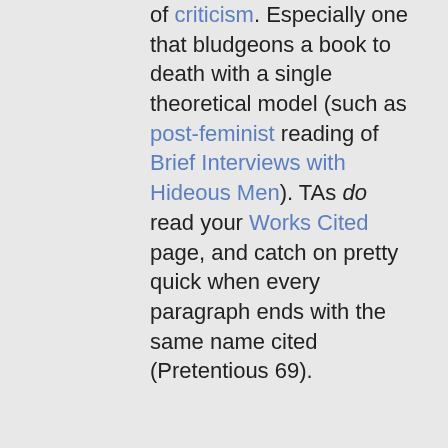of criticism. Especially one that bludgeons a book to death with a single theoretical model (such as post-feminist reading of Brief Interviews with Hideous Men). TAs do read your Works Cited page, and catch on pretty quick when every paragraph ends with the same name cited (Pretentious 69).
Never make incredulous, overarching claims like